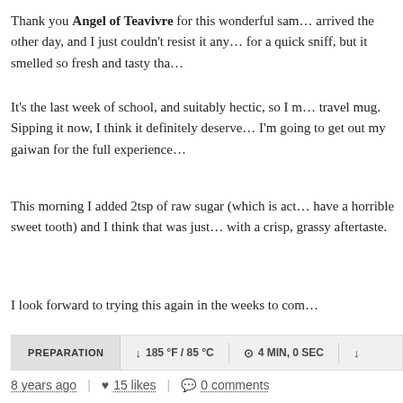Thank you Angel of Teavivre for this wonderful sam... arrived the other day, and I just couldn't resist it any... for a quick sniff, but it smelled so fresh and tasty tha...
It's the last week of school, and suitably hectic, so I m... travel mug. Sipping it now, I think it definitely deserve... I'm going to get out my gaiwan for the full experience...
This morning I added 2tsp of raw sugar (which is act... have a horrible sweet tooth) and I think that was just... with a crisp, grassy aftertaste.
I look forward to trying this again in the weeks to com...
| PREPARATION | 185 °F / 85 °C | 4 MIN, 0 SEC |
| --- | --- | --- |
8 years ago | 15 likes | 0 comments
[Figure (photo): User avatar thumbnail - circular brown cookie/tea-related image]
wheezyboo | The Persimmon Tea | Daily T...